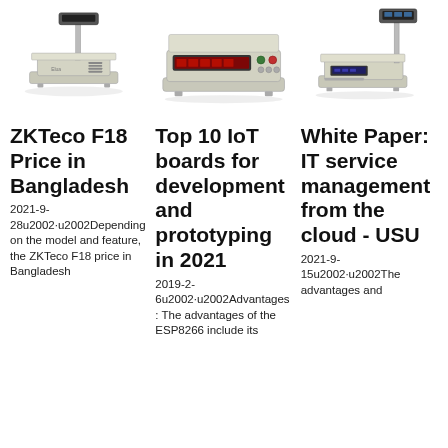[Figure (photo): Digital weighing scale with pole-mounted display - ZKTeco F18 scale image]
[Figure (photo): Digital weighing scale with front-facing LED display panel - IoT boards article image]
[Figure (photo): Digital weighing scale with pole-mounted display on the right - USU white paper image]
ZKTeco F18 Price in Bangladesh
Top 10 IoT boards for development and prototyping in 2021
White Paper: IT service management from the cloud - USU
2021-9-28u2002·u2002Depending on the model and feature, the ZKTeco F18 price in Bangladesh
2019-2-6u2002·u2002Advantages: The advantages of the ESP8266 include its
2021-9-15u2002·u2002The advantages and